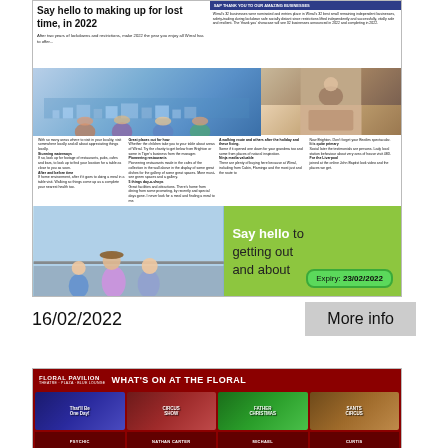[Figure (other): Newspaper article clipping: 'Say hello to making up for lost time, in 2022' with photos of people outdoors and a green promotional banner saying 'Say hello to getting out and about' with Expiry: 23/02/2022]
16/02/2022
More info
[Figure (other): Floral Pavilion advertisement: 'WHAT'S ON AT THE FLORAL' with show thumbnails including That'll Be The Day, a circus show, and others. Bottom row shows names: PSYCHIC, NATHAN CARTER, MICHAEL, CURTIS]